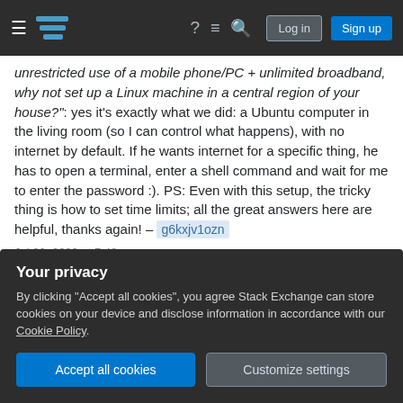Stack Exchange navigation bar with Log in and Sign up buttons
unrestricted use of a mobile phone/PC + unlimited broadband, why not set up a Linux machine in a central region of your house?": yes it's exactly what we did: a Ubuntu computer in the living room (so I can control what happens), with no internet by default. If he wants internet for a specific thing, he has to open a terminal, enter a shell command and wait for me to enter the password :). PS: Even with this setup, the tricky thing is how to set time limits; all the great answers here are helpful, thanks again! – g6kxjv1ozn
Jul 30, 2020 at 7:48
@g6kxjv1ozn consider a router with parental controls - you can set limits for devices (based on MAC address)
Your privacy
By clicking "Accept all cookies", you agree Stack Exchange can store cookies on your device and disclose information in accordance with our Cookie Policy.
Accept all cookies
Customize settings